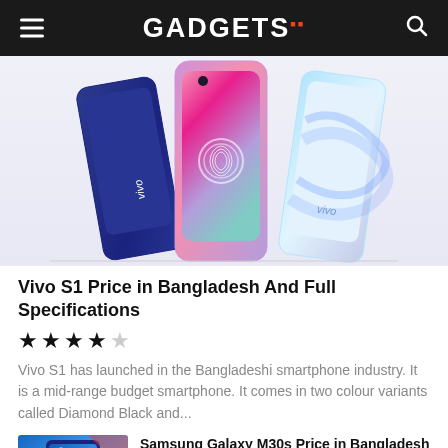GADGETS
[Figure (photo): Three Vivo S1 smartphones displayed back-to-back showing different color variants: dark blue, pink/purple, and light blue/pearl]
Vivo S1 Price in Bangladesh And Full Specifications
★★★★☆
Vivo S1 has launched in the Bangladeshi smartphone industry. It is a mid-range budget smartphone. It comes in two colour variants called Diamond Black and...
[Figure (photo): Samsung Galaxy M30s smartphone thumbnail]
Samsung Galaxy M30s Price in Bangladesh and Full Specifications
★★★★☆
[Figure (photo): Samsung Galaxy Note 10+ smartphone thumbnail]
Samsung Galaxy Note 10+ Price in